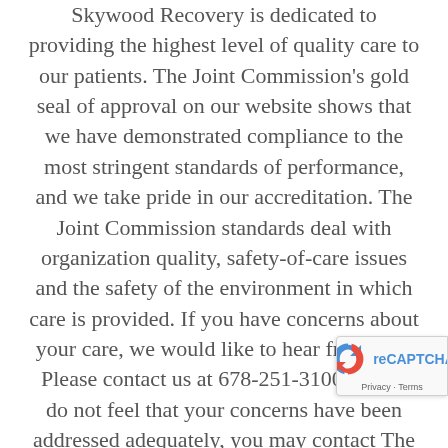Skywood Recovery is dedicated to providing the highest level of quality care to our patients. The Joint Commission's gold seal of approval on our website shows that we have demonstrated compliance to the most stringent standards of performance, and we take pride in our accreditation. The Joint Commission standards deal with organization quality, safety-of-care issues and the safety of the environment in which care is provided. If you have concerns about your care, we would like to hear from you. Please contact us at 678-251-3100. If you do not feel that your concerns have been addressed adequately, you may contact The Joint Commission at: Division of Accreditation Operations, Office of Quality Monitoring, The Joint Commission, One